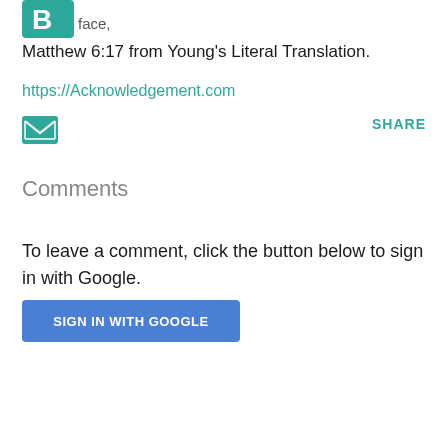[Figure (logo): Teal/green stylized letter B logo icon followed by the word 'face,']
Matthew 6:17 from Young's Literal Translation.
https://Acknowledgement.com
[Figure (other): Email envelope icon (teal/green)]
SHARE
Comments
To leave a comment, click the button below to sign in with Google.
[Figure (other): Blue button labeled SIGN IN WITH GOOGLE]